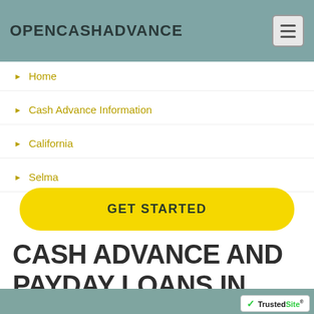OPENCASHADVANCE
Home
Cash Advance Information
California
Selma
GET STARTED
CASH ADVANCE AND PAYDAY LOANS IN SELMA, CA
[Figure (logo): TrustedSite badge with green checkmark]